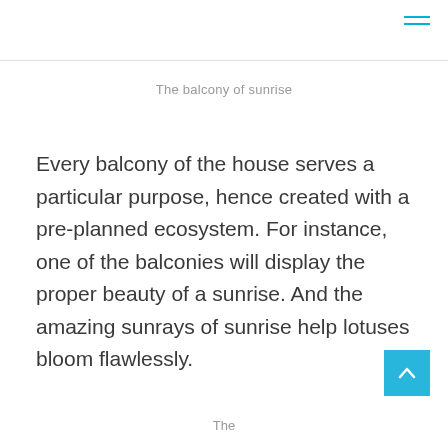The balcony of sunrise
Every balcony of the house serves a particular purpose, hence created with a pre-planned ecosystem. For instance, one of the balconies will display the proper beauty of a sunrise. And the amazing sunrays of sunrise help lotuses bloom flawlessly.
The